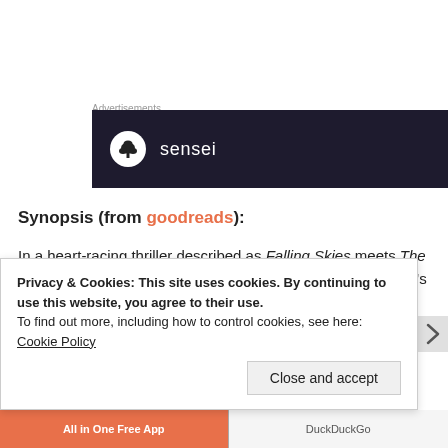Advertisements
[Figure (logo): Sensei advertisement banner — dark navy background with a circular white icon (tree/bonsai symbol) and the word 'sensei' in white text]
Synopsis (from goodreads):
In a heart-racing thriller described as Falling Skies meets The Walking Dead, Jennie struggles to find a safe place for what's left of her family. But it seems as though there is no place sacred, no place secure. First the aliens attacked the sun, making it dimmer, weaker
Privacy & Cookies: This site uses cookies. By continuing to use this website, you agree to their use.
To find out more, including how to control cookies, see here: Cookie Policy
Close and accept